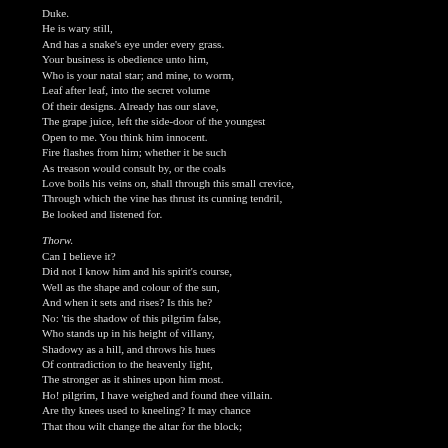Duke.
He is wary still,
And has a snake's eye under every grass.
Your business is obedience unto him,
Who is your natal star; and mine, to worm,
Leaf after leaf, into the secret volume
Of their designs. Already has our slave,
The grape juice, left the side-door of the youngest
Open to me. You think him innocent.
Fire flashes from him; whether it be such
As treason would consult by, or the coals
Love boils his veins on, shall through this small crevice,
Through which the vine has thrust its cunning tendril,
Be looked and listened for.
Thorw.
Can I believe it?
Did not I know him and his spirit's course,
Well as the shape and colour of the sun,
And when it sets and rises? Is this he?
No: 'tis the shadow of this pilgrim false,
Who stands up in his height of villany,
Shadowy as a hill, and throws his hues
Of contradiction to the heavenly light,
The stronger as it shines upon him most.
Ho! pilgrim, I have weighed and found thee villain.
Are thy knees used to kneeling? It may chance
That thou wilt change the altar for the block;